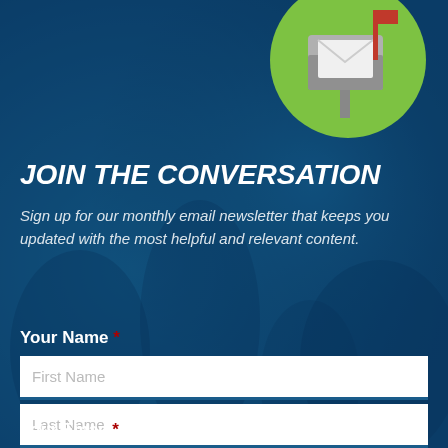[Figure (illustration): Green circle with a mailbox icon (grey mailbox, red flag, envelope) in the upper right area of the page]
JOIN THE CONVERSATION
Sign up for our monthly email newsletter that keeps you updated with the most helpful and relevant content.
Your Name *
First Name
Last Name
Your Email *